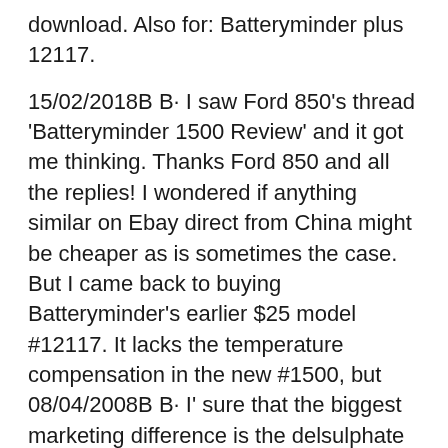15/02/2018B B· I saw Ford 850's thread 'Batteryminder 1500 Review' and it got me thinking. Thanks Ford 850 and all the replies! I wondered if anything similar on Ebay direct from China might be cheaper as is sometimes the case. But I came back to buying Batteryminder's earlier $25 model #12117. It lacks the temperature compensation in the new #1500, but 08/04/2008B B· I' sure that the biggest marketing difference is the delsulphate pulse mode to renew/rejuvenate old batteries. Here's a list of features that the 1.33 amp BatteryMinder Plus offers: Features * Safely charges-maintains-conditions all